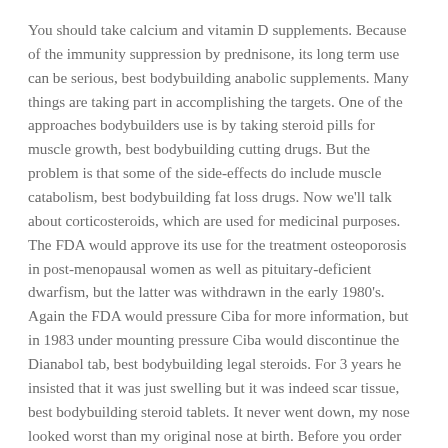You should take calcium and vitamin D supplements. Because of the immunity suppression by prednisone, its long term use can be serious, best bodybuilding anabolic supplements. Many things are taking part in accomplishing the targets. One of the approaches bodybuilders use is by taking steroid pills for muscle growth, best bodybuilding cutting drugs. But the problem is that some of the side-effects do include muscle catabolism, best bodybuilding fat loss drugs. Now we'll talk about corticosteroids, which are used for medicinal purposes. The FDA would approve its use for the treatment osteoporosis in post-menopausal women as well as pituitary-deficient dwarfism, but the latter was withdrawn in the early 1980's. Again the FDA would pressure Ciba for more information, but in 1983 under mounting pressure Ciba would discontinue the Dianabol tab, best bodybuilding legal steroids. For 3 years he insisted that it was just swelling but it was indeed scar tissue, best bodybuilding steroid tablets. It never went down, my nose looked worst than my original nose at birth. Before you order steroids online, do lots of research on the full list of anabolic steroids. It is the best way to find the best anabolic steroid for